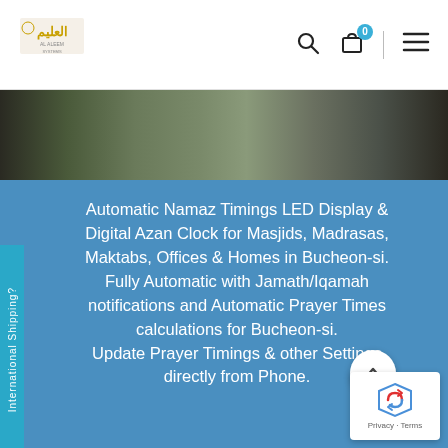[Figure (logo): Al Aleem Systems logo with Arabic text and tagline]
[Figure (photo): Mosque interior photo strip showing green drapery and pillars]
International Shipping?
Automatic Namaz Timings LED Display & Digital Azan Clock for Masjids, Madrasas, Maktabs, Offices & Homes in Bucheon-si. Fully Automatic with Jamath/Iqamah notifications and Automatic Prayer Times calculations for Bucheon-si. Update Prayer Timings & other Settings directly from Phone.
[Figure (logo): reCAPTCHA badge with Privacy and Terms links]